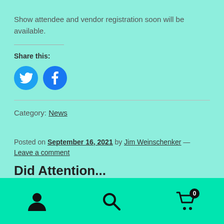Show attendee and vendor registration soon will be available.
Share this:
[Figure (other): Twitter and Facebook circular social share buttons]
Category: News
Posted on September 16, 2021 by Jim Weinschenker — Leave a comment
Bottom navigation bar with user, search, and cart icons